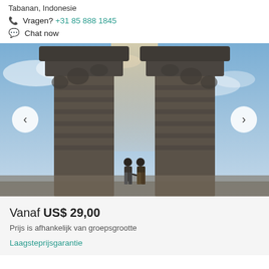Tabanan, Indonesie
Vragen?  +31 85 888 1845
Chat now
[Figure (photo): A couple holding hands standing between two large ornate Balinese temple gates (Pura Lempuyang), with dramatic cloudy sky in background. Navigation arrows on left and right sides of the image.]
Vanaf US$ 29,00
Prijs is afhankelijk van groepsgrootte
Laagsteprijsgarantie